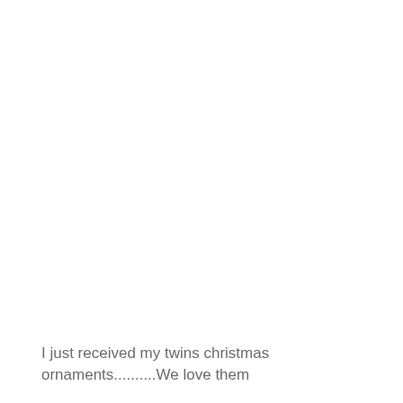I just received my twins christmas ornaments..........We love them